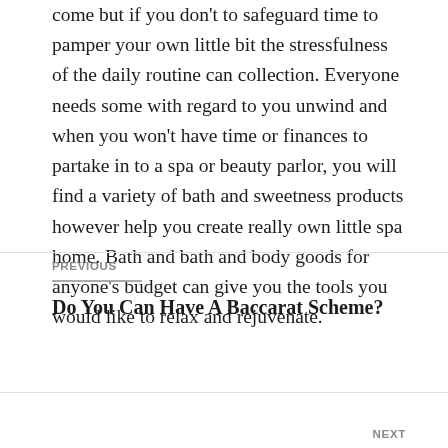come but if you don't to safeguard time to pamper your own little bit the stressfulness of the daily routine can collection. Everyone needs some with regard to you unwind and when you won't have time or finances to partake in to a spa or beauty parlor, you will find a variety of bath and sweetness products however help you create really own little spa home. Bath and bath and body goods for anyone's budget can give you the tools you would like to relax and rejuvenate.
PREVIOUS
Do You Can Have A Baccarat Scheme?
NEXT